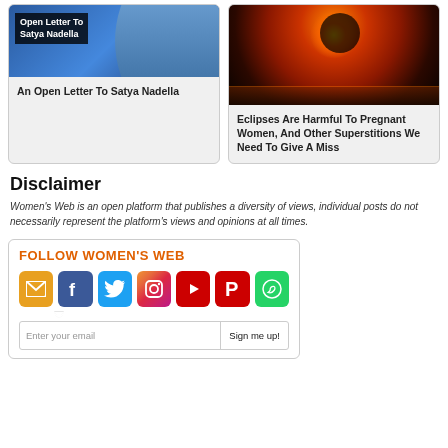[Figure (photo): Card with overlay text 'Open Letter To Satya Nadella' on a blue background with a person]
An Open Letter To Satya Nadella
[Figure (photo): Eclipse image showing orange/red glow against dark sky]
Eclipses Are Harmful To Pregnant Women, And Other Superstitions We Need To Give A Miss
Disclaimer
Women's Web is an open platform that publishes a diversity of views, individual posts do not necessarily represent the platform's views and opinions at all times.
FOLLOW WOMEN'S WEB
Enter your email    Sign me up!